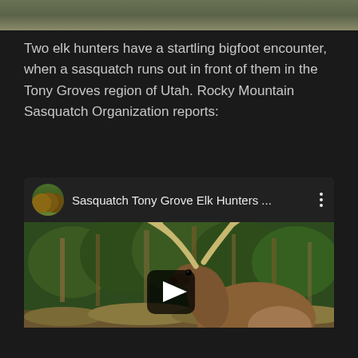[Figure (photo): Top portion of an outdoor nature scene, showing grassland/field area]
Two elk hunters have a startling bigfoot encounter, when a sasquatch runs out in front of them in the Tony Groves region of Utah. Rocky Mountain Sasquatch Organization reports:
[Figure (screenshot): YouTube video embed titled 'Sasquatch Tony Grove Elk Hunters ...' showing a thumbnail of an elk with large antlers standing in a forested area with a play button overlay. Channel avatar shows a group of people.]